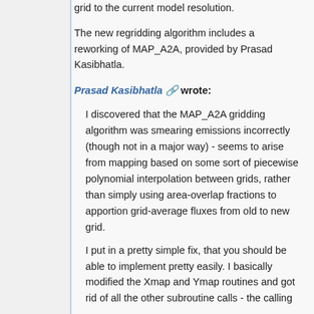grid to the current model resolution.
The new regridding algorithm includes a reworking of MAP_A2A, provided by Prasad Kasibhatla.
Prasad Kasibhatla wrote:
I discovered that the MAP_A2A gridding algorithm was smearing emissions incorrectly (though not in a major way) - seems to arise from mapping based on some sort of piecewise polynomial interpolation between grids, rather than simply using area-overlap fractions to apportion grid-average fluxes from old to new grid.
I put in a pretty simple fix, that you should be able to implement pretty easily. I basically modified the Xmap and Ymap routines and got rid of all the other subroutine calls - the calling